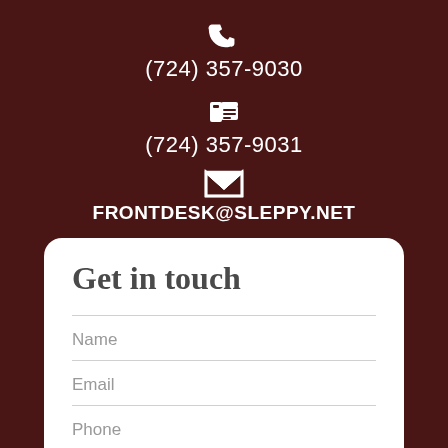[Figure (other): Phone handset icon (white) on dark brown background]
(724) 357-9030
[Figure (other): Fax/printer icon (white) on dark brown background]
(724) 357-9031
[Figure (other): Envelope/email icon (white) on dark brown background]
FRONTDESK@SLEPPY.NET
Get in touch
Name
Email
Phone